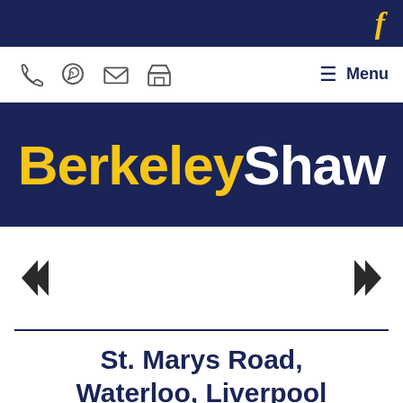f (Facebook icon)
[Figure (screenshot): Navigation bar with phone, WhatsApp, email, and shop icons, plus hamburger Menu button]
[Figure (logo): BerkeleyShaw logo — 'Berkeley' in yellow and 'Shaw' in white on dark navy background]
[Figure (other): Image carousel area with left and right arrow navigation buttons]
St. Marys Road, Waterloo, Liverpool